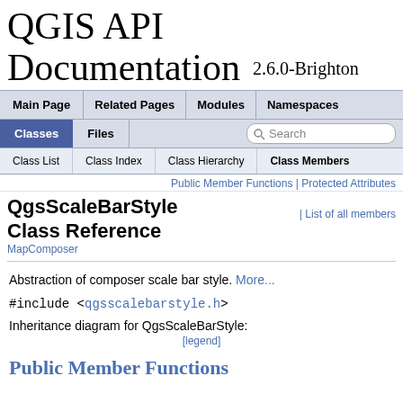QGIS API Documentation 2.6.0-Brighton
Main Page | Related Pages | Modules | Namespaces | Classes | Files | Search
Class List | Class Index | Class Hierarchy | Class Members
Public Member Functions | Protected Attributes | List of all members
QgsScaleBarStyle Class Reference
MapComposer
Abstraction of composer scale bar style. More...
#include <qgsscalebarstyle.h>
Inheritance diagram for QgsScaleBarStyle:
[legend]
Public Member Functions